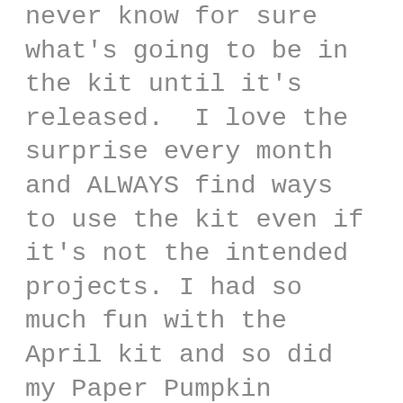never know for sure what's going to be in the kit until it's released.  I love the surprise every month and ALWAYS find ways to use the kit even if it's not the intended projects. I had so much fun with the April kit and so did my Paper Pumpkin Players.  We got together last week and enjoyed some stress free painting with the watercolor pencils included in the kit.  We also opened up a few of the envelopes and had fun creating some alternative projects using the designer series paper that lined the envelopes.  Thanks to Pinterest and my fellow demonstrators (who so willing share and swap ideas with me), we had plenty of inspiration to choose from! Special thanks to Deana Rekow, Kim Morris, Debbie Henderson, Rachel Tessman, Susan Itell, and Dawn Olchefske for their inspiration and ideas! Here are some photos of my display boards and more from our